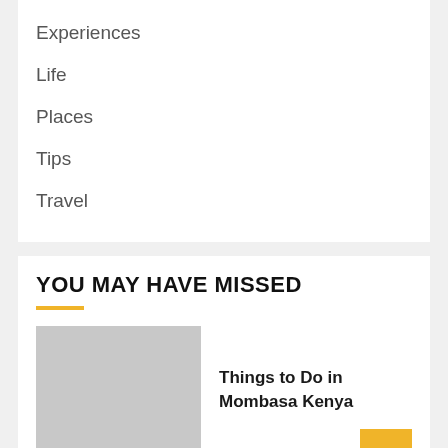Experiences
Life
Places
Tips
Travel
YOU MAY HAVE MISSED
[Figure (photo): Gray placeholder image for article thumbnail]
Things to Do in Mombasa Kenya